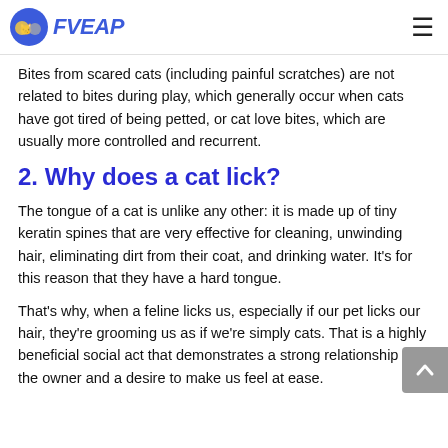FVEAP
Bites from scared cats (including painful scratches) are not related to bites during play, which generally occur when cats have got tired of being petted, or cat love bites, which are usually more controlled and recurrent.
2. Why does a cat lick?
The tongue of a cat is unlike any other: it is made up of tiny keratin spines that are very effective for cleaning, unwinding hair, eliminating dirt from their coat, and drinking water. It's for this reason that they have a hard tongue.
That's why, when a feline licks us, especially if our pet licks our hair, they're grooming us as if we're simply cats. That is a highly beneficial social act that demonstrates a strong relationship with the owner and a desire to make us feel at ease.